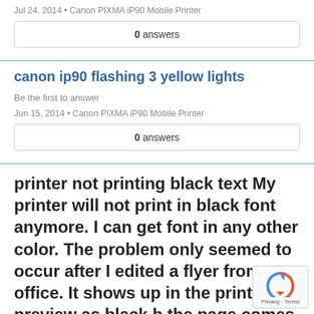Jul 24, 2014 • Canon PIXMA iP90 Mobile Printer
0 answers
canon ip90 flashing 3 yellow lights
Be the first to answer
Jun 15, 2014 • Canon PIXMA iP90 Mobile Printer
0 answers
printer not printing black text My printer will not print in black font anymore. I can get font in any other color. The problem only seemed to occur after I edited a flyer from office. It shows up in the print preview as black b the page comes out blank